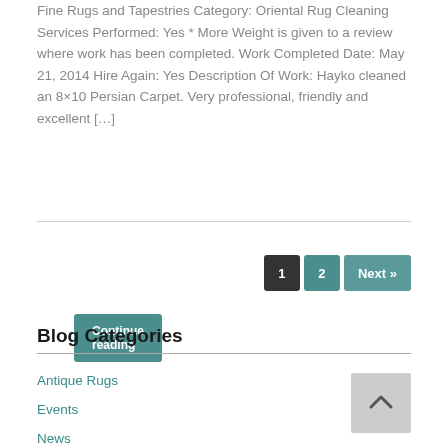Fine Rugs and Tapestries Category: Oriental Rug Cleaning Services Performed: Yes * More Weight is given to a review where work has been completed. Work Completed Date: May 21, 2014 Hire Again: Yes Description Of Work: Hayko cleaned an 8×10 Persian Carpet. Very professional, friendly and excellent […]
Continue reading
1  2  Next »
Blog Categories
Antique Rugs
Events
News